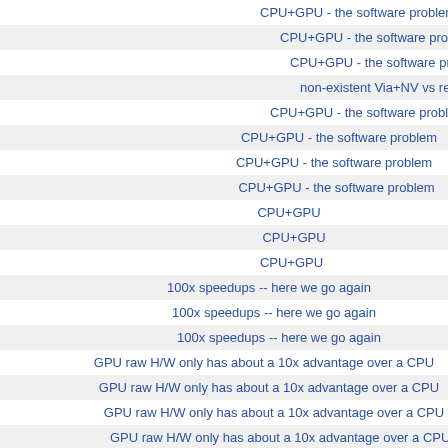CPU+GPU - the software problem
CPU+GPU - the software problem
CPU+GPU - the software problem
non-existent Via+NV vs real Ontario
CPU+GPU - the software problem
CPU+GPU - the software problem
CPU+GPU - the software problem
CPU+GPU - the software problem
CPU+GPU
CPU+GPU
CPU+GPU
100x speedups -- here we go again
100x speedups -- here we go again
100x speedups -- here we go again
GPU raw H/W only has about a 10x advantage over a CPU
GPU raw H/W only has about a 10x advantage over a CPU
GPU raw H/W only has about a 10x advantage over a CPU
GPU raw H/W only has about a 10x advantage over a CPU
GPU raw H/W only has about a 10x advantage over a CPU
GPU raw H/W only has about a 10x advantage over a CPU
There is reasonable explanation...
GPU raw H/W only has about a 10x advantage over a CPU
simple reality check for you...